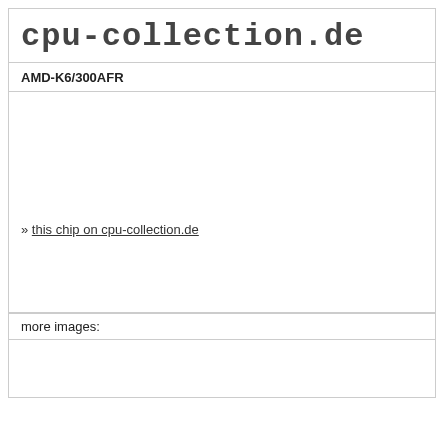cpu-collection.de
AMD-K6/300AFR
» this chip on cpu-collection.de
more images: